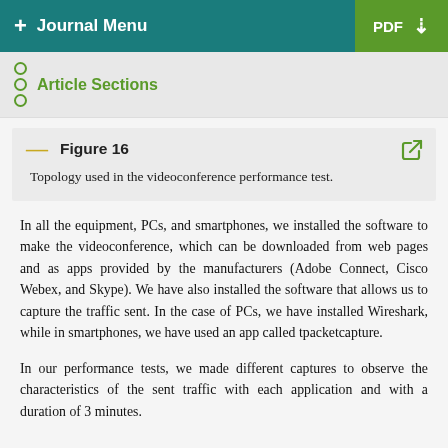+ Journal Menu | PDF ↓
Article Sections
Figure 16
Topology used in the videoconference performance test.
In all the equipment, PCs, and smartphones, we installed the software to make the videoconference, which can be downloaded from web pages and as apps provided by the manufacturers (Adobe Connect, Cisco Webex, and Skype). We have also installed the software that allows us to capture the traffic sent. In the case of PCs, we have installed Wireshark, while in smartphones, we have used an app called tpacketcapture.
In our performance tests, we made different captures to observe the characteristics of the sent traffic with each application and with a duration of 3 minutes.